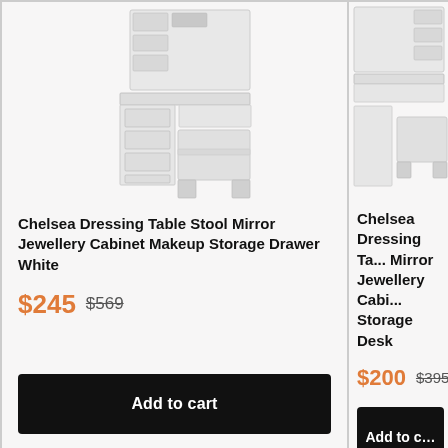[Figure (photo): White Chelsea Dressing Table Stool Mirror Jewellery Cabinet Makeup Storage Drawer product photo]
Chelsea Dressing Table Stool Mirror Jewellery Cabinet Makeup Storage Drawer White
$245  $569
Add to cart
[Figure (photo): White Chelsea Dressing Table Mirror Jewellery Cabinet Storage Desk product photo (partially visible)]
Chelsea Dressing Ta... Mirror Jewellery Cabi... Storage Desk
$200  $395
Add to c...